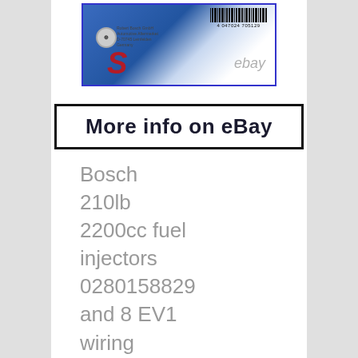[Figure (photo): Photo of a Bosch product box/package showing barcode '4 047024 705129', Robert Bosch branding text, blue packaging with red 'S' or brand letter visible, with 'ebay' watermark in the lower right of the image.]
More info on eBay
Bosch 210lb 2200cc fuel injectors 0280158829 and 8 EV1 wiring pigtails. Factory Genuine unmodified